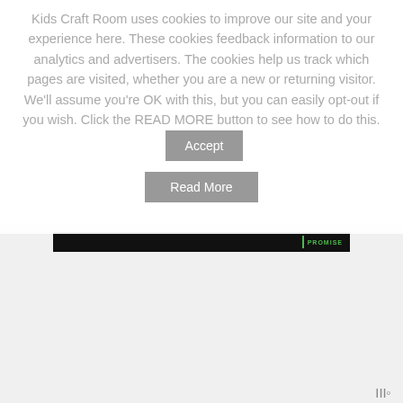Kids Craft Room uses cookies to improve our site and your experience here. These cookies feedback information to our analytics and advertisers. The cookies help us track which pages are visited, whether you are a new or returning visitor. We'll assume you're OK with this, but you can easily opt-out if you wish. Click the READ MORE button to see how to do this.
Accept
Read More
[Figure (other): Black bar with green PROMISE text and vertical green bar on left, resembling a publisher promise badge]